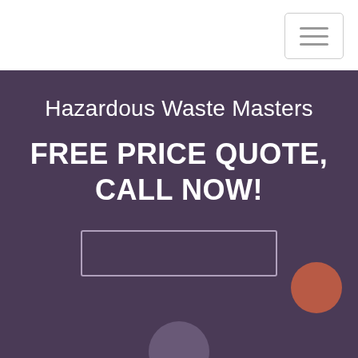[Figure (other): Navigation hamburger menu button with three horizontal lines, bordered rectangle, top-right corner of white header bar]
Hazardous Waste Masters
FREE PRICE QUOTE, CALL NOW!
[Figure (other): Empty rectangular input/button box with light border on dark purple background]
[Figure (other): Orange-red filled circle decorative element, bottom right area]
[Figure (other): Partial grey-purple circle at very bottom center, partially cut off]